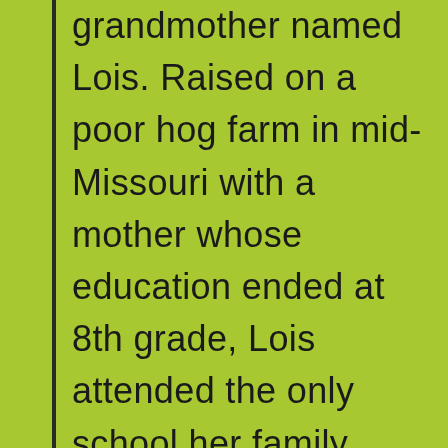grandmother named Lois. Raised on a poor hog farm in mid-Missouri with a mother whose education ended at 8th grade, Lois attended the only school her family could afford. At a Missouri public school in the late 1920s, she studied four years of Latin and read Virgil and Cicero in Latin. She